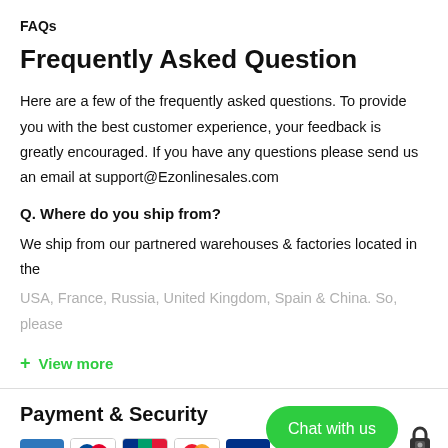FAQs
Frequently Asked Question
Here are a few of the frequently asked questions. To provide you with the best customer experience, your feedback is greatly encouraged. If you have any questions please send us an email at support@Ezonlinesales.com
Q. Where do you ship from?
We ship from our partnered warehouses & factories located in the USA, France, Russia, United Kingdom, Spain & China. So, please
+ View more
Payment & Security
[Figure (other): Payment method icons: American Express, Diners, JCB, Mastercard, PayPal, and another card brand]